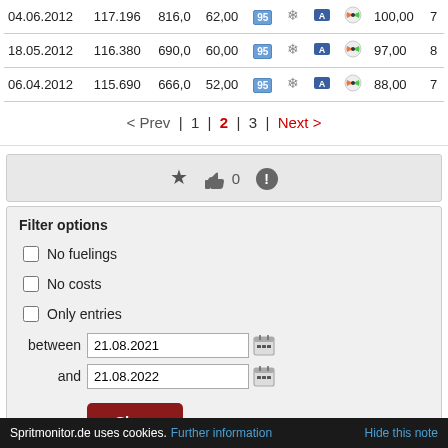| Date | Odometer | Amount | Price | Fuel | Winter | Road | Gauge | Person | Consumption | Extra |
| --- | --- | --- | --- | --- | --- | --- | --- | --- | --- | --- |
| 04.06.2012 | 117.196 | 816,0 | 62,00 | 95 | ❄ | 🛣 | ⬤ | 100,00 | 7 |
| 18.05.2012 | 116.380 | 690,0 | 60,00 | 95 | ❄ | 🛣 | ⬤ | 97,00 | 8 |
| 06.04.2012 | 115.690 | 666,0 | 52,00 | 95 | ❄ | 🛣 | ⬤ | 88,00 | 7 |
< Prev | 1 | 2 | 3 | Next >
[Figure (other): Action bar with star, thumbs up with count 0, and exclamation icon]
Filter options
No fuelings
No costs
Only entries
between 21.08.2021
and 21.08.2022
Show
Spritmonitor.de uses cookies. Further information  Hide this note